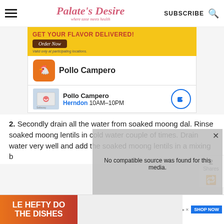Palate's Desire — where taste meets health | SUBSCRIBE
[Figure (advertisement): Pollo Campero food delivery advertisement with yellow background, 'GET YOUR FLAVOR DELIVERED!' text, Order Now button, and map card showing Herndon 10AM-10PM location]
2. Secondly drain all the water from soaked moong dal. Rinse soaked moong lentils in cold water couple of times. Drain water very well and add the soaked moong lentils in a mixing b
[Figure (advertisement): Bottom banner ad for Hefty Do The Dishes dish soap with food images and SHOP NOW button]